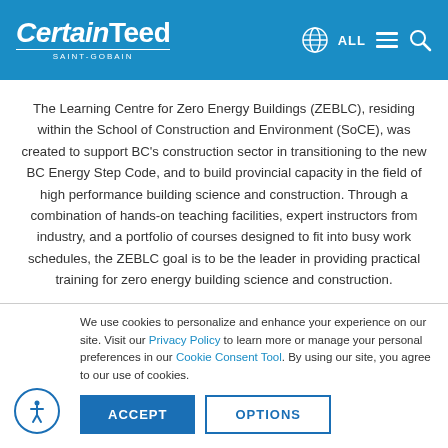CertainTeed SAINT-GOBAIN | ALL navigation | search
The Learning Centre for Zero Energy Buildings (ZEBLC), residing within the School of Construction and Environment (SoCE), was created to support BC's construction sector in transitioning to the new BC Energy Step Code, and to build provincial capacity in the field of high performance building science and construction. Through a combination of hands-on teaching facilities, expert instructors from industry, and a portfolio of courses designed to fit into busy work schedules, the ZEBLC goal is to be the leader in providing practical training for zero energy building science and construction.
We use cookies to personalize and enhance your experience on our site. Visit our Privacy Policy to learn more or manage your personal preferences in our Cookie Consent Tool. By using our site, you agree to our use of cookies.